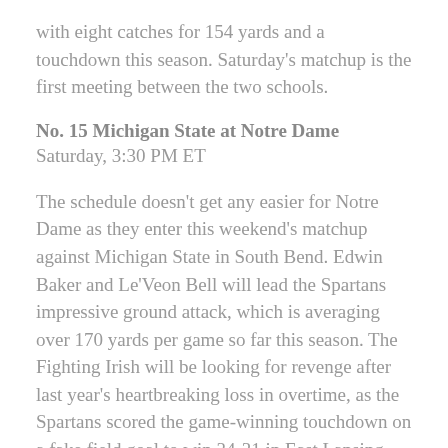with eight catches for 154 yards and a touchdown this season. Saturday's matchup is the first meeting between the two schools.
No. 15 Michigan State at Notre Dame
Saturday, 3:30 PM ET
The schedule doesn't get any easier for Notre Dame as they enter this weekend's matchup against Michigan State in South Bend. Edwin Baker and Le'Veon Bell will lead the Spartans impressive ground attack, which is averaging over 170 yards per game so far this season. The Fighting Irish will be looking for revenge after last year's heartbreaking loss in overtime, as the Spartans scored the game-winning touchdown on a fake field goal to win 34-31 in East Lansing.